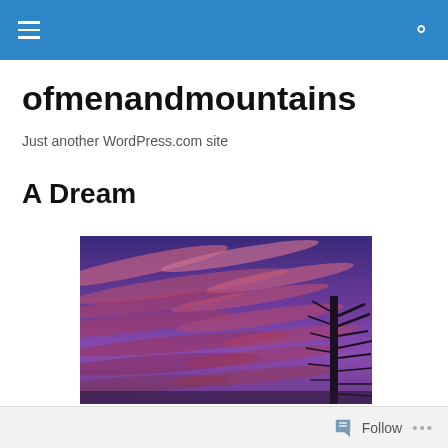ofmenandmountains — navigation bar
ofmenandmountains
Just another WordPress.com site
A Dream
[Figure (photo): A dramatic pink and purple sunset sky with streaks of cloud and dark tree silhouette on the right side.]
Follow ...